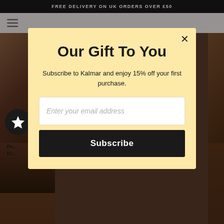FREE DELIVERY ON UK ORDERS OVER £50
[Figure (screenshot): E-commerce website background showing product images and navigation bar, partially obscured by modal overlay]
Our Gift To You
Subscribe to Kalmar and enjoy 15% off your first purchase.
Enter your email address
Subscribe